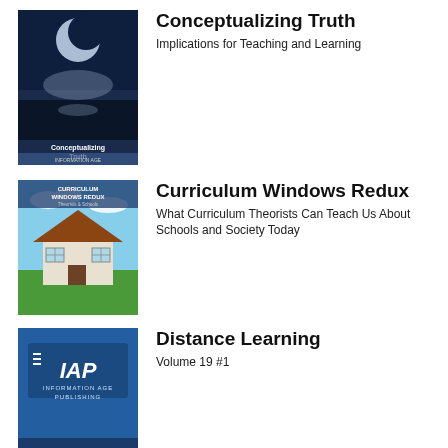[Figure (illustration): Book cover for Conceptualizing Truth - dark blue background with moon/light imagery]
Conceptualizing Truth
Implications for Teaching and Learning
[Figure (illustration): Book cover for Curriculum Windows Redux - house with blue sky and grass]
Curriculum Windows Redux
What Curriculum Theorists Can Teach Us About Schools and Society Today
[Figure (illustration): Book cover for Distance Learning - blue cover with IAP Information Age Publishing logo]
Distance Learning
Volume 19 #1
[Figure (illustration): Book cover for Educating in Ethics Across the Professions - purple/violet cover with geometric pattern]
Educating in Ethics Across the Professions
A Compendium of Research, Theory, Practice, and an Agenda for the Future